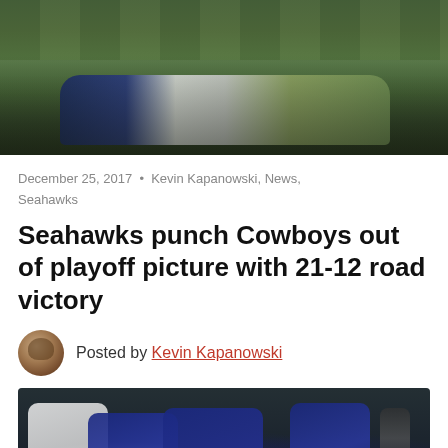[Figure (photo): Football game action photo showing players' legs and cleats on field, top portion of image]
December 25, 2017  •  Kevin Kapanowski, News, Seahawks
Seahawks punch Cowboys out of playoff picture with 21-12 road victory
Posted by Kevin Kapanowski
[Figure (photo): Football game action photo showing Cowboys vs Seahawks players including player #50 Wright making a tackle]